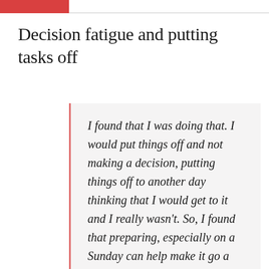Decision fatigue and putting tasks off
I found that I was doing that. I would put things off and not making a decision, putting things off to another day thinking that I would get to it and I really wasn't. So, I found that preparing, especially on a Sunday can help make it go a lot smoother